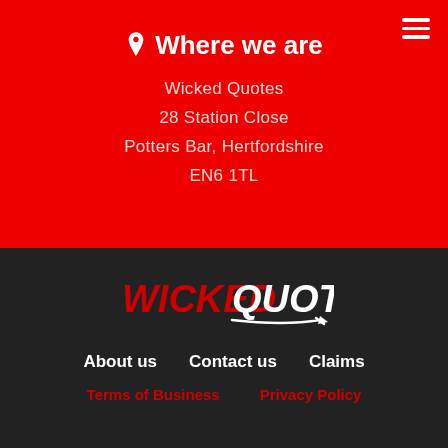Where we are
Wicked Quotes
28 Station Close
Potters Bar, Hertfordshire
EN6 1TL
[Figure (logo): Wicked Quotes logo with red italic WICKED and white bold QUOTES text, with an arrow underline beneath QUOTES]
About us
Contact us
Claims
Terms of Business
Privacy Policy